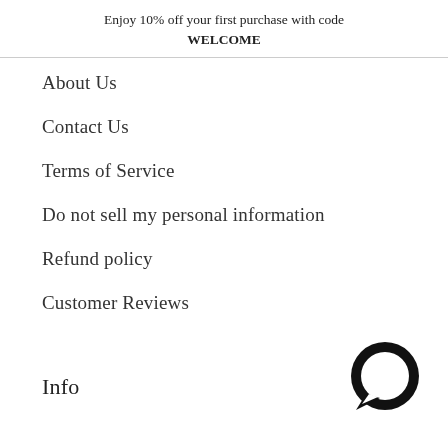Enjoy 10% off your first purchase with code WELCOME
About Us
Contact Us
Terms of Service
Do not sell my personal information
Refund policy
Customer Reviews
Info
[Figure (illustration): Chat bubble icon — a circular speech bubble icon in black, positioned at bottom right corner]